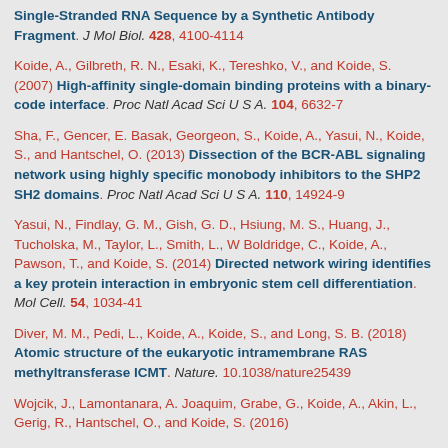Single-Stranded RNA Sequence by a Synthetic Antibody Fragment. J Mol Biol. 428, 4100-4114
Koide, A., Gilbreth, R. N., Esaki, K., Tereshko, V., and Koide, S. (2007) High-affinity single-domain binding proteins with a binary-code interface. Proc Natl Acad Sci U S A. 104, 6632-7
Sha, F., Gencer, E. Basak, Georgeon, S., Koide, A., Yasui, N., Koide, S., and Hantschel, O. (2013) Dissection of the BCR-ABL signaling network using highly specific monobody inhibitors to the SHP2 SH2 domains. Proc Natl Acad Sci U S A. 110, 14924-9
Yasui, N., Findlay, G. M., Gish, G. D., Hsiung, M. S., Huang, J., Tucholska, M., Taylor, L., Smith, L., W Boldridge, C., Koide, A., Pawson, T., and Koide, S. (2014) Directed network wiring identifies a key protein interaction in embryonic stem cell differentiation. Mol Cell. 54, 1034-41
Diver, M. M., Pedi, L., Koide, A., Koide, S., and Long, S. B. (2018) Atomic structure of the eukaryotic intramembrane RAS methyltransferase ICMT. Nature. 10.1038/nature25439
Wojcik, J., Lamontanara, A. Joaquim, Grabe, G., Koide, A., Akin, L., Gerig, R., Hantschel, O., and Koide, S. (2016) Allosteric Inhibition of Bcr-Abl...